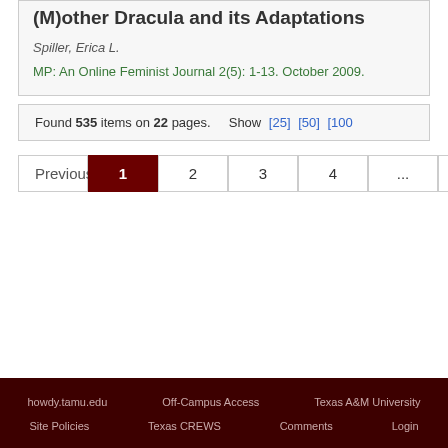(M)other Dracula and its Adaptations
Spiller, Erica L.
MP: An Online Feminist Journal 2(5): 1-13. October 2009.
Found 535 items on 22 pages. Show [25] [50] [100]
Previous  1  2  3  4  ...  22  Next
howdy.tamu.edu   Off-Campus Access   Texas A&M University   Site Policies   Texas CREWS   Comments   Login